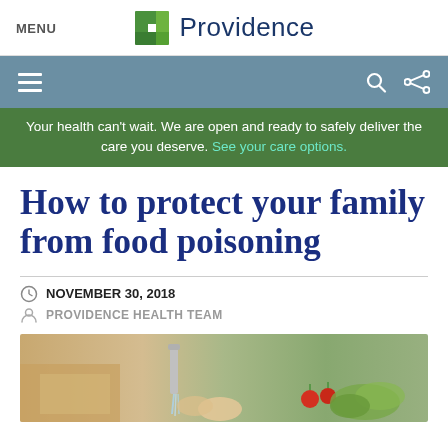MENU  Providence
Your health can't wait. We are open and ready to safely deliver the care you deserve. See your care options.
How to protect your family from food poisoning
NOVEMBER 30, 2018
PROVIDENCE HEALTH TEAM
[Figure (photo): Kitchen scene showing hands washing vegetables under running water with tomatoes and greens on the counter]